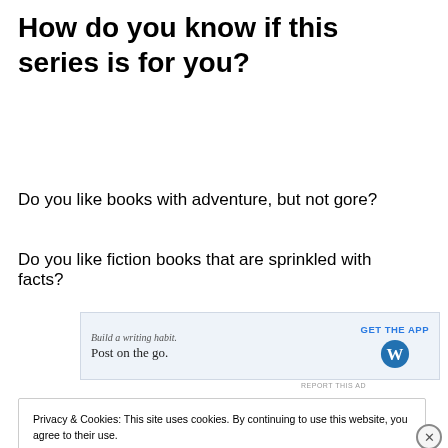How do you know if this series is for you?
Do you like books with adventure, but not gore?
Do you like fiction books that are sprinkled with facts?
[Figure (other): Wordpress app advertisement banner: 'Build a writing habit. Post on the go.' with GET THE APP button and WordPress logo]
REPORT THIS AD
Privacy & Cookies: This site uses cookies. By continuing to use this website, you agree to their use. To find out more, including how to control cookies, see here: Cookie Policy